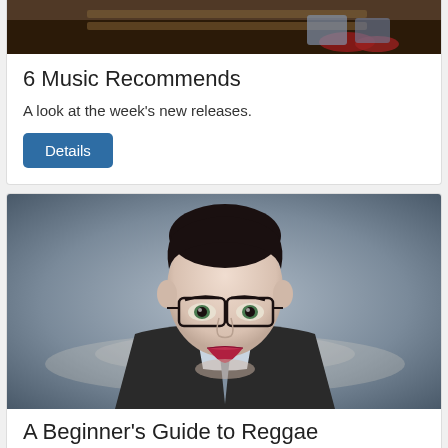[Figure (photo): Partial photo of a person sitting on stairs wearing red shoes, cropped at the top]
6 Music Recommends
A look at the week's new releases.
Details
[Figure (photo): Portrait photo of a young man wearing glasses, a suit, and a tie, with lipstick on, against a grey background]
A Beginner's Guide to Reggae